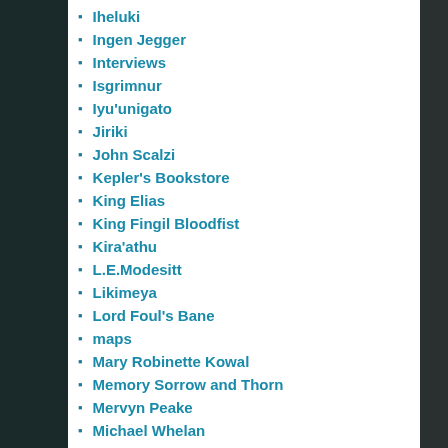Iheluki
Ingen Jegger
Interviews
Isgrimnur
Iyu'unigato
Jiriki
John Scalzi
Kepler's Bookstore
King Elias
King Fingil Bloodfist
Kira'athu
L.E.Modesitt
Likimeya
Lord Foul's Bane
maps
Mary Robinette Kowal
Memory Sorrow and Thorn
Mervyn Peake
Michael Whelan
Miriamele
Morgan
MS&T